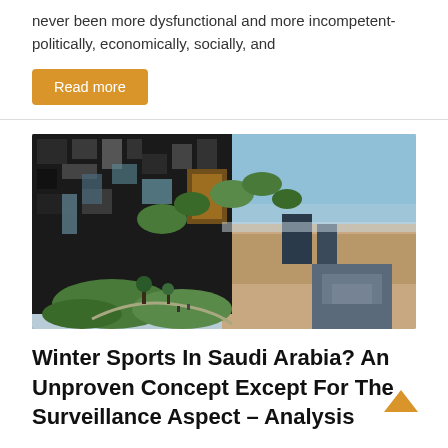never been more dysfunctional and more incompetent- politically, economically, socially, and
Read more
[Figure (photo): Architectural rendering of a futuristic building complex built into a cliff or mountainside, with geometric metallic facades, green terraced gardens, and a vast arid landscape in the background under a blue sky.]
Winter Sports In Saudi Arabia? An Unproven Concept Except For The Surveillance Aspect – Analysis